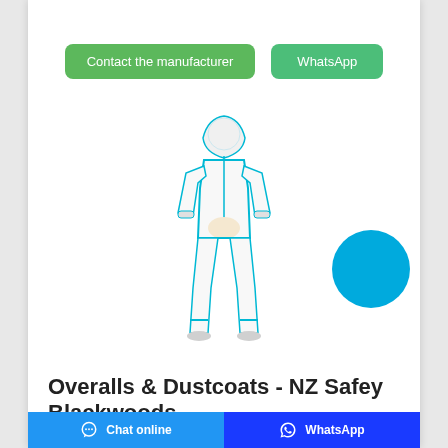[Figure (other): Two green rounded button elements: 'Contact the manufacturer' and 'WhatsApp']
[Figure (photo): A person wearing a white protective coverall/hazmat suit with teal/cyan trim and a white respirator mask, standing full-body facing forward. A large cyan circle overlaps the lower-right of the image.]
Overalls & Dustcoats - NZ Safety Blackwoods
NZ Safety Blackwoods has a broad range of Overalls & Dustcoats . Find out more about the Overalls & Dustcoats product range and buy online.
[Figure (screenshot): Bottom navigation bar with two buttons: blue 'Chat online' on the left with chat icon, and dark blue 'WhatsApp' on the right with WhatsApp icon.]